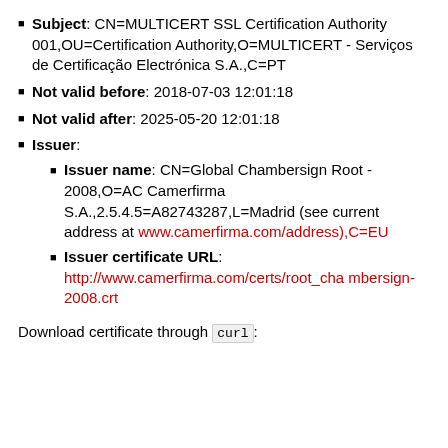Subject: CN=MULTICERT SSL Certification Authority 001,OU=Certification Authority,O=MULTICERT - Serviços de Certificação Electrónica S.A.,C=PT
Not valid before: 2018-07-03 12:01:18
Not valid after: 2025-05-20 12:01:18
Issuer:
Issuer name: CN=Global Chambersign Root - 2008,O=AC Camerfirma S.A.,2.5.4.5=A82743287,L=Madrid (see current address at www.camerfirma.com/address),C=EU
Issuer certificate URL: http://www.camerfirma.com/certs/root_chambersign-2008.crt
Download certificate through curl: